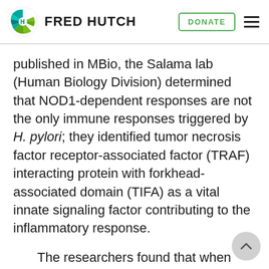FRED HUTCH
published in MBio, the Salama lab (Human Biology Division) determined that NOD1-dependent responses are not the only immune responses triggered by H. pylori; they identified tumor necrosis factor receptor-associated factor (TRAF) interacting protein with forkhead-associated domain (TIFA) as a vital innate signaling factor contributing to the inflammatory response.
The researchers found that when they knocked out NOD1 in a gastric adenocarcinoma cell line (AGS cells) using CRISPR/Cas9, the cells produced less IL-8 in response to H. pylori, but they were still able to generate some IL-8, demonstrating that